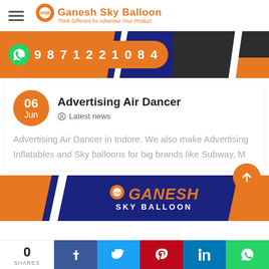Ganesh Sky Balloon — Think Different for Advertise Your Product
[Figure (infographic): Orange banner with WhatsApp icon and phone number 9871221084 on orange pill, dark navy right section with diagonal divider and dark image]
Advertising Air Dancer
Latest news
Advertising Air Dancer in Indore. We also make Advertising Inflatables and Sky balloons for big brands like Subway, M
[Figure (logo): Ganesh Sky Balloon logo banner on dark navy background with orange accents and GSB pin logo]
0 SHARES | Facebook | Twitter | Pinterest | LinkedIn | WhatsApp